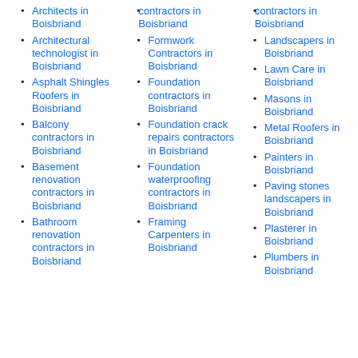Architects in Boisbriand
Architectural technologist in Boisbriand
Asphalt Shingles Roofers in Boisbriand
Balcony contractors in Boisbriand
Basement renovation contractors in Boisbriand
Bathroom renovation contractors in Boisbriand
contractors in Boisbriand
Formwork Contractors in Boisbriand
Foundation contractors in Boisbriand
Foundation crack repairs contractors in Boisbriand
Foundation waterproofing contractors in Boisbriand
Framing Carpenters in Boisbriand
contractors in Boisbriand
Landscapers in Boisbriand
Lawn Care in Boisbriand
Masons in Boisbriand
Metal Roofers in Boisbriand
Painters in Boisbriand
Paving stones landscapers in Boisbriand
Plasterer in Boisbriand
Plumbers in Boisbriand